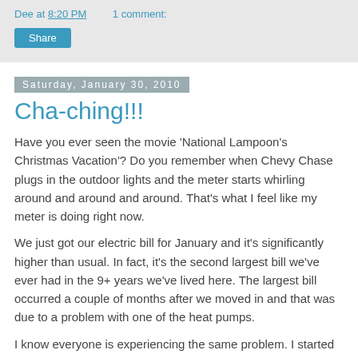Dee at 8:20 PM   1 comment:
Share
Saturday, January 30, 2010
Cha-ching!!!
Have you ever seen the movie 'National Lampoon's Christmas Vacation'?  Do you remember when Chevy Chase plugs in the outdoor lights and the meter starts whirling around and around and around.  That's what I feel like my meter is doing right now.
We just got our electric bill for January and it's significantly higher than usual.  In fact, it's the second largest bill we've ever had in the 9+ years we've lived here.  The largest bill occurred a couple of months after we moved in and that was due to a problem with one of the heat pumps.
I know everyone is experiencing the same problem.  I started trying to think of ways to conserve energy.  I turned the